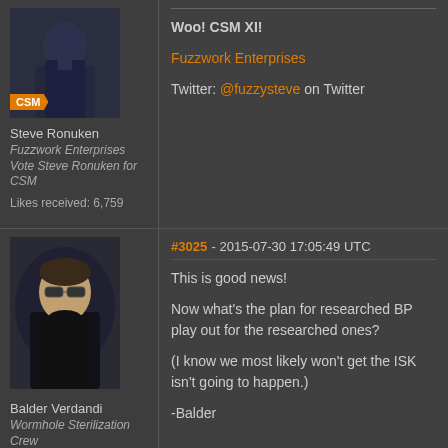[Figure (photo): Avatar image of Steve Ronuken with CSM badge overlay]
Steve Ronuken
Fuzzwork Enterprises
Vote Steve Ronuken for CSM
Likes received: 6,759
Woo! CSM XI!
Fuzzwork Enterprises
Twitter: @fuzzysteve on Twitter
[Figure (photo): Avatar image of Balder Verdandi]
Balder Verdandi
Wormhole Sterilization Crew
Likes received: 301
#3025 - 2015-07-30 17:05:49 UTC
This is good news!

Now what's the plan for researched BPO play out for the researched ones?

(I know we most likely won't get the ISK isn't going to happen.)

-Balder